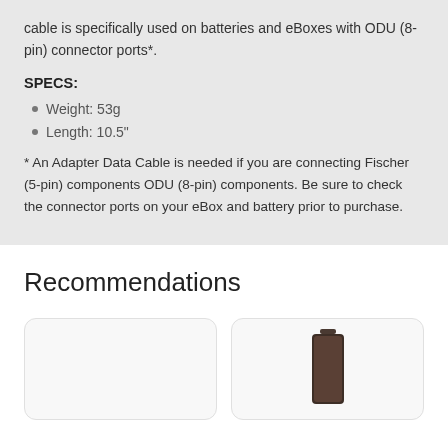cable is specifically used on batteries and eBoxes with ODU (8-pin) connector ports*.
SPECS:
Weight: 53g
Length: 10.5"
* An Adapter Data Cable is needed if you are connecting Fischer (5-pin) components ODU (8-pin) components. Be sure to check the connector ports on your eBox and battery prior to purchase.
Recommendations
[Figure (photo): Two product recommendation cards, left card is empty/white, right card shows a dark cylindrical battery product]